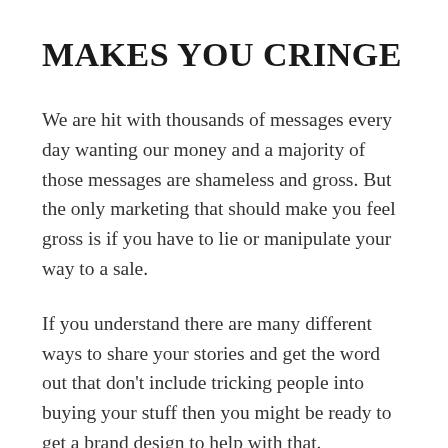MAKES YOU CRINGE
We are hit with thousands of messages every day wanting our money and a majority of those messages are shameless and gross. But the only marketing that should make you feel gross is if you have to lie or manipulate your way to a sale.
If you understand there are many different ways to share your stories and get the word out that don’t include tricking people into buying your stuff then you might be ready to get a brand design to help with that.